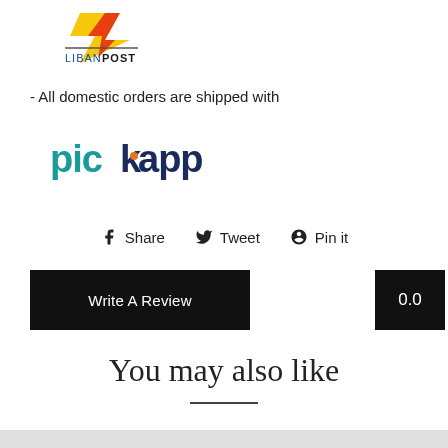[Figure (logo): LibanPost logo with stylized wing/arrow mark in yellow/red and text LIBANPOST in blue and bold black]
- All domestic orders are shipped with
[Figure (logo): Pickapp logo in teal/dark blue stylized text reading 'pickapp' with a small orange arrow accent]
f Share   🐦 Tweet   ℗ Pin it
Write A Review
0.0
[Figure (other): Five empty/outline star rating icons in gold/tan color]
You may also like